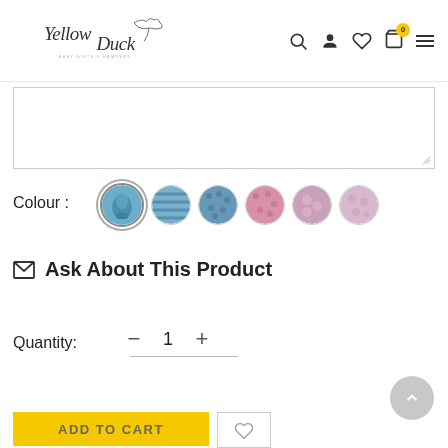[Figure (logo): Yellow Duck Baby Gifts & Hampers logo with duck illustration in cursive script]
[Figure (screenshot): Navigation icons: search, user account, heart/wishlist, cart with 0 badge, hamburger menu]
[Figure (other): Text input textarea with resize handle]
Colour :
[Figure (other): Six circular colour swatches: blue sock (selected), blue pattern, dark blue pattern, pink pattern, pink floral, light pink floral]
✉ Ask About This Product
Quantity:
[Figure (other): Quantity selector with minus button, value 1, plus button]
[Figure (other): ADD TO CART yellow button and wishlist heart icon button]